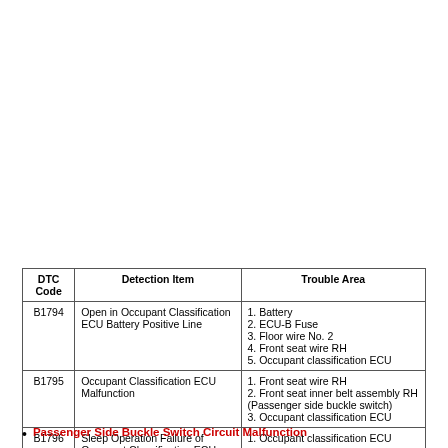| DTC Code | Detection Item | Trouble Area |
| --- | --- | --- |
| B1794 | Open in Occupant Classification ECU Battery Positive Line | 1. Battery
2. ECU-B Fuse
3. Floor wire No. 2
4. Front seat wire RH
5. Occupant classification ECU |
| B1795 | Occupant Classification ECU Malfunction | 1. Front seat wire RH
2. Front seat inner belt assembly RH (Passenger side buckle switch)
3. Occupant classification ECU |
| B1796 | Sleep Operation Failure of Occupant Classification ECU | 1. Occupant classification ECU |
Passenger Side Buckle Switch Circuit Malfunction